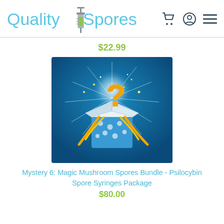[Figure (logo): Quality Spores logo with syringe icon and teal text]
$22.99
[Figure (illustration): Blue polka-dot gift box open with glowing golden question mark and sparkles on blue background]
Mystery 6: Magic Mushroom Spores Bundle - Psilocybin Spore Syringes Package
$80.00